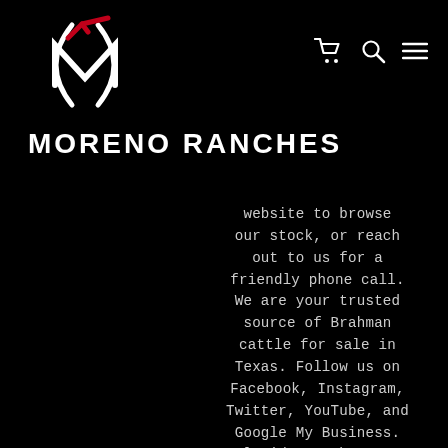[Figure (logo): Moreno Ranches logo: white stylized M with parentheses forming a horseshoe/shield shape, red checkmark accent above]
MORENO RANCHES
[Figure (other): Navigation icons: shopping cart, search/magnifier, and hamburger menu in white]
website to browse our stock, or reach out to us for a friendly phone call. We are your trusted source of Brahman cattle for sale in Texas. Follow us on Facebook, Instagram, Twitter, YouTube, and Google My Business. Florida Ranch at 17 Virginia Circle, Venus, Florida or call 305-218-1238. Texas